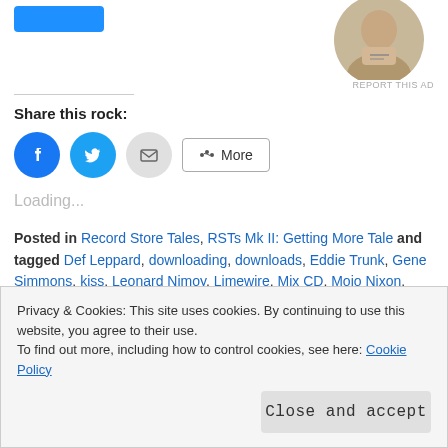[Figure (photo): Circular avatar photo of a person writing/working at a desk, top-right corner]
REPORT THIS AD
Share this rock:
[Figure (other): Social share buttons: Facebook (blue circle), Twitter (blue circle), Email (grey circle), and a More button with share icon]
Loading...
Posted in Record Store Tales, RSTs Mk II: Getting More Tale and tagged Def Leppard, downloading, downloads, Eddie Trunk, Gene Simmons, kiss, Leonard Nimoy, Limewire, Mix CD, Mojo Nixon, Motley Crue, peter criss, Rodney Dangerfield, Sammy Davis Jr., Skid
Privacy & Cookies: This site uses cookies. By continuing to use this website, you agree to their use.
To find out more, including how to control cookies, see here: Cookie Policy
Close and accept